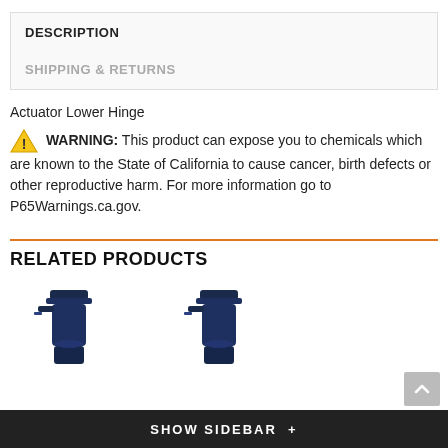DESCRIPTION
SHIPPING & RETURNS
Actuator Lower Hinge
WARNING: This product can expose you to chemicals which are known to the State of California to cause cancer, birth defects or other reproductive harm. For more information go to P65Warnings.ca.gov.
RELATED PRODUCTS
[Figure (photo): Two blue spray bottle products shown side by side]
SHOW SIDEBAR +